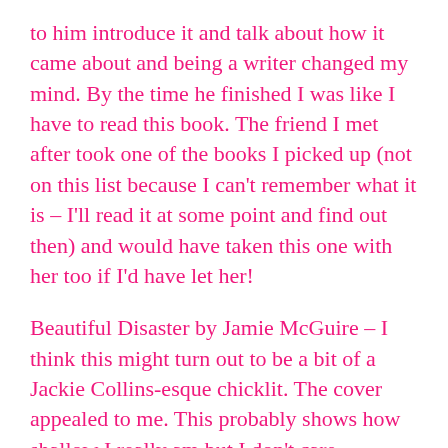to him introduce it and talk about how it came about and being a writer changed my mind.  By the time he finished I was like I have to read this book.  The friend I met after took one of the books I picked up (not on this list because I can't remember what it is – I'll read it at some point and find out then) and would have taken this one with her too if I'd have let her!
Beautiful Disaster by Jamie McGuire – I think this might turn out to be a bit of a Jackie Collins-esque chicklit.  The cover appealed to me.  This probably shows how shallow I really am but I don't care.
The Painted Bridge by Wendy Wallace – this is